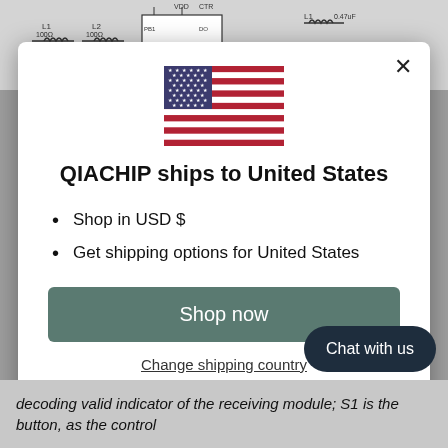[Figure (screenshot): Circuit diagram schematic visible at the top of the page behind the modal overlay]
[Figure (screenshot): Modal dialog popup showing QIACHIP ships to United States with US flag, bullet points, Shop now button, and Change shipping country link]
decoding valid indicator of the receiving module; S1 is the button, as the control